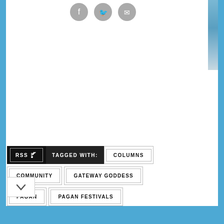[Figure (illustration): Social media icons (Facebook, Twitter, Email) in gray circles at top of page]
RSS
TAGGED WITH:
COLUMNS
COMMUNITY
GATEWAY GODDESS
PAGAN
PAGAN FESTIVALS
PAGAN PICNIC
PAGANISM
RIVER AND JOYCE HIGGINBOTHAM